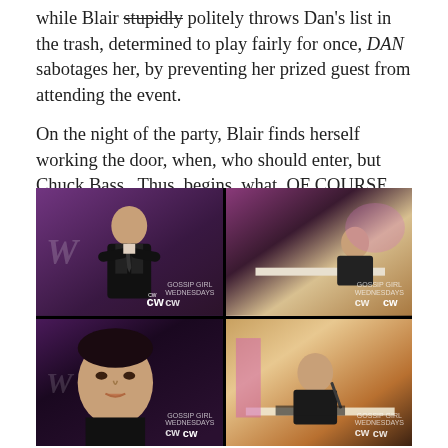while Blair stupidly politely throws Dan's list in the trash, determined to play fairly for once, DAN sabotages her, by preventing her prized guest from attending the event.
On the night of the party, Blair finds herself working the door, when, who should enter, but Chuck Bass.  Thus, begins, what, OF COURSE, was my favorite scene of the entire episode . . .
[Figure (photo): Four-panel grid of screenshots from a TV show (Gossip Girl on CW). Top-left: young man in dark suit with arms crossed in a purple-lit venue. Top-right: young woman sitting at a desk/table in an event venue. Bottom-left: close-up of the same young man's face. Bottom-right: young woman sitting at a table with a pen/pencil in hand. All panels have CW network watermarks.]